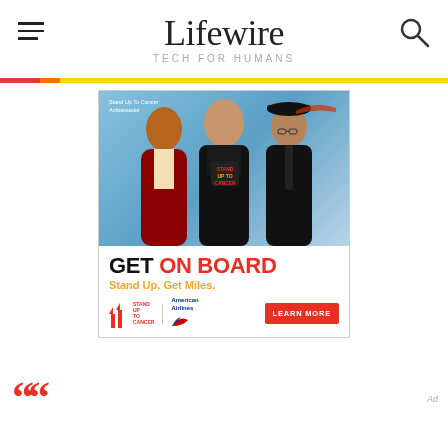Lifewire TECH FOR HUMANS
[Figure (infographic): Advertisement for Stand Up To Cancer and American Airlines featuring three people (a woman in red, a woman in Stand Up To Cancer shirt, and a man in pilot uniform) with text GET ON BOARD Stand Up. Get Miles. and a LEARN MORE button. Logos for Stand Up To Cancer and American Airlines shown at bottom.]
““